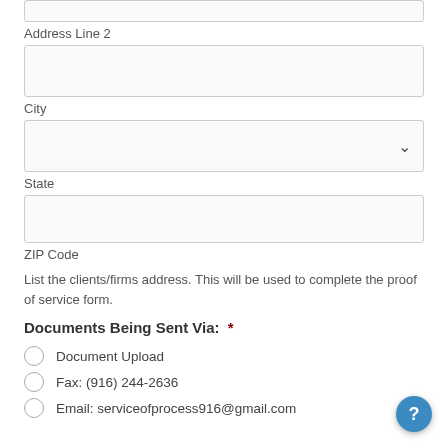Address Line 2
City
State
ZIP Code
List the clients/firms address. This will be used to complete the proof of service form.
Documents Being Sent Via: *
Document Upload
Fax: (916) 244-2636
Email: serviceofprocess916@gmail.com